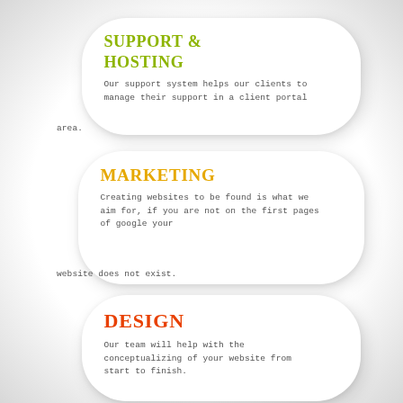[Figure (infographic): Three rounded pill-shaped cards stacked vertically. Card 1: 'SUPPORT & HOSTING' in green bold, with descriptive text. Card 2: 'MARKETING' in yellow bold, with descriptive text. Card 3: 'DESIGN' in red/orange bold, with descriptive text.]